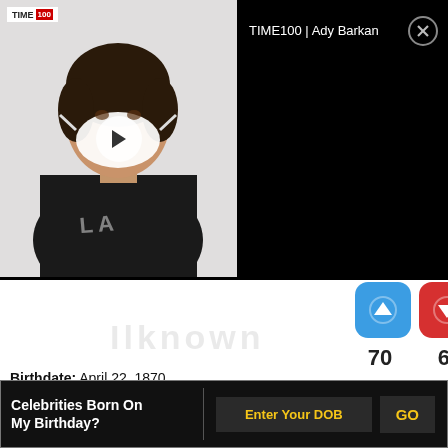[Figure (screenshot): TIME100 video overlay with Ady Barkan thumbnail on left showing person in black clothing with face mask, play button in center. Right side black with title 'TIME100 | Ady Barkan' and close button. Blue up-arrow button and red down-arrow button visible below thumbnail. Vote counts 70 and 62 shown.]
Birthdate: April 22, 1870
Birthplace: Ulyanovsk, Russia
Died: January 21, 1924
Vladimir Lenin played a key role in the history of Russian politics by developing a political ideology called Leninism. During and after his lifetime, Lenin had a massive influence over international
Celebrities Born On My Birthday?  Enter Your DOB  GO